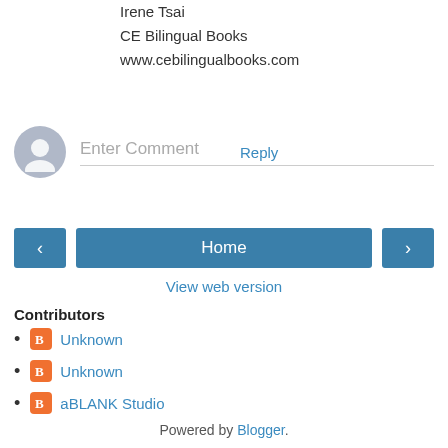Irene Tsai
CE Bilingual Books
www.cebilingualbooks.com
Reply
[Figure (other): User avatar placeholder - grey circle with person silhouette, next to Enter Comment input field]
Contributors
Unknown
Unknown
aBLANK Studio
Powered by Blogger.